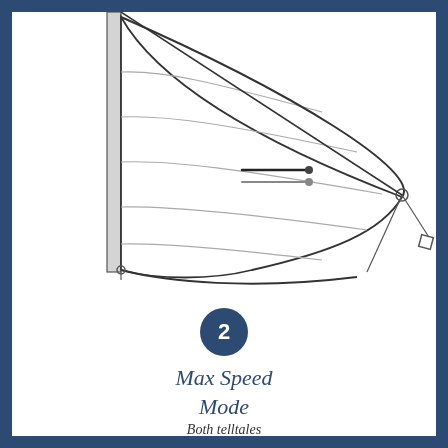[Figure (illustration): Technical sailing diagram showing a spinnaker sail with horizontal panel lines indicating sail shape. A mast runs vertically on the left side. Two telltale indicators (one dark, one with dot) are shown in the middle of the sail pointing roughly horizontal, indicating wind flow. The sail is rigged with lines at the clew corners. A dark navy circle with the number 2 is shown below the sail.]
Max Speed Mode
Both telltales